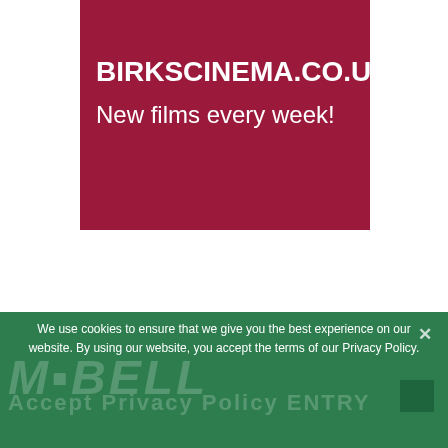[Figure (other): Dark crimson/maroon rectangle banner with white bold text reading BIRKSCINEMA.CO.UK and New films every week!]
BIRKSCINEMA.CO.UK
New films every week!
We use cookies to ensure that we give you the best experience on our website. By using our website, you accept the terms of our Privacy Policy.